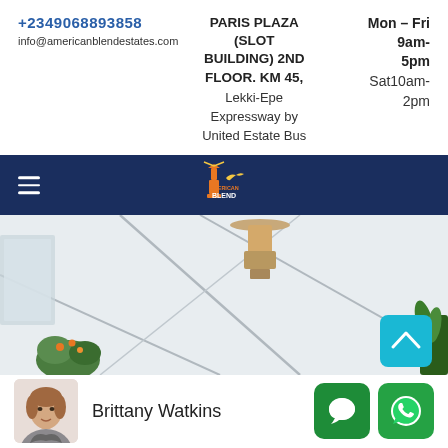+2349068893858
info@americanblendestates.com
PARIS PLAZA (SLOT BUILDING) 2ND FLOOR. KM 45, Lekki-Epe Expressway by United Estate Bus
Mon – Fri 9am-5pm Sat10am-2pm
[Figure (logo): American Blend Estates logo with lighthouse and bird on dark navy navigation bar]
[Figure (photo): Interior hero photo showing geometric wall lines with a pendant lamp and plants]
Brittany Watkins
[Figure (photo): Avatar photo of Brittany Watkins, a woman in a blazer with arms crossed]
[Figure (infographic): Two green WhatsApp/chat buttons at bottom right]